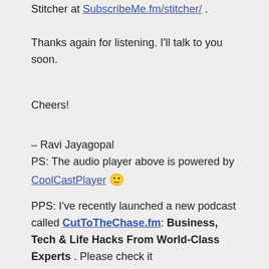Stitcher at SubscribeMe.fm/stitcher/ .
Thanks again for listening. I'll talk to you soon.
Cheers!
– Ravi Jayagopal
PS: The audio player above is powered by CoolCastPlayer 🙂
PPS: I've recently launched a new podcast called CutToTheChase.fm: Business, Tech & Life Hacks From World-Class Experts . Please check it